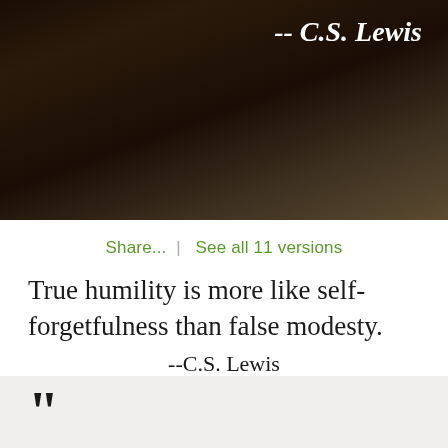[Figure (photo): Dark atmospheric background photo with a hand faintly visible, showing '-- C.S. Lewis' text in white italic bold font in the upper right area]
Share...  |  See all 11 versions
True humility is more like self-forgetfulness than false modesty.
--C.S. Lewis
[Figure (illustration): Light gray card section at the bottom with large dark closing quotation marks]